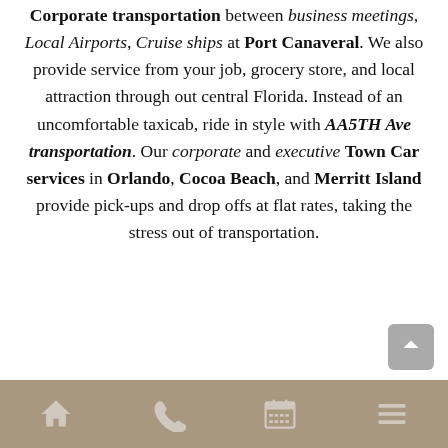AA5TH Ave Transportation has been providing Corporate transportation between business meetings, Local Airports, Cruise ships at Port Canaveral. We also provide service from your job, grocery store, and local attraction through out central Florida. Instead of an uncomfortable taxicab, ride in style with AA5TH Ave transportation. Our corporate and executive Town Car services in Orlando, Cocoa Beach, and Merritt Island provide pick-ups and drop offs at flat rates, taking the stress out of transportation.
Navigation bar with home, phone, calendar, menu icons